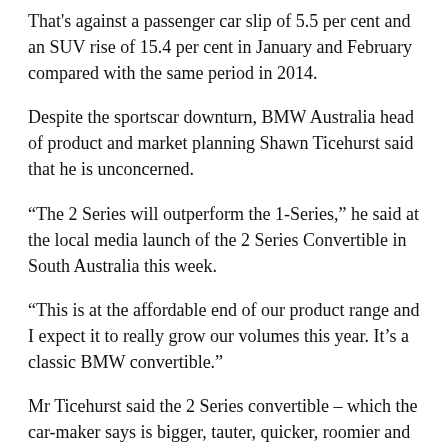That's against a passenger car slip of 5.5 per cent and an SUV rise of 15.4 per cent in January and February compared with the same period in 2014.
Despite the sportscar downturn, BMW Australia head of product and market planning Shawn Ticehurst said that he is unconcerned.
“The 2 Series will outperform the 1-Series,” he said at the local media launch of the 2 Series Convertible in South Australia this week.
“This is at the affordable end of our product range and I expect it to really grow our volumes this year. It’s a classic BMW convertible.”
Mr Ticehurst said the 2 Series convertible – which the car-maker says is bigger, tauter, quicker, roomier and more economical than the 1 Series drop-top it replaces – will create significant conquest sales.
“The 1 Series convertible sold more than 5000 in Australia and